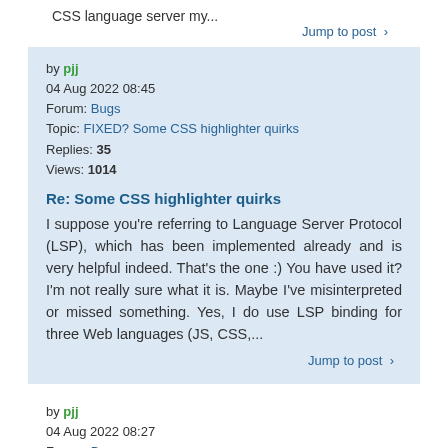CSS language server my...
Jump to post >
by pjj
04 Aug 2022 08:45
Forum: Bugs
Topic: FIXED? Some CSS highlighter quirks
Replies: 35
Views: 1014
Re: Some CSS highlighter quirks
I suppose you're referring to Language Server Protocol (LSP), which has been implemented already and is very helpful indeed. That's the one :) You have used it? I'm not really sure what it is. Maybe I've misinterpreted or missed something. Yes, I do use LSP binding for three Web languages (JS, CSS,...
Jump to post >
by pjj
04 Aug 2022 08:27
Forum: Bugs
Topic: FIXED? Some CSS highlighter quirks
Replies: 35
Views: 1014